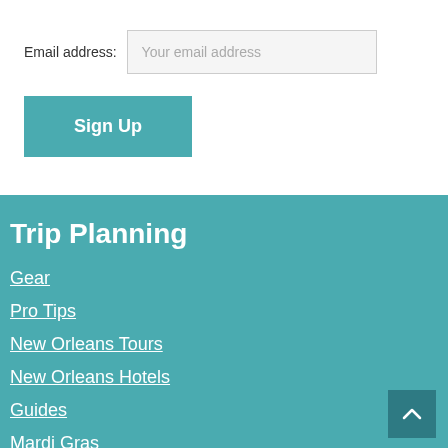Email address:
Your email address
Sign Up
Trip Planning
Gear
Pro Tips
New Orleans Tours
New Orleans Hotels
Guides
Mardi Gras